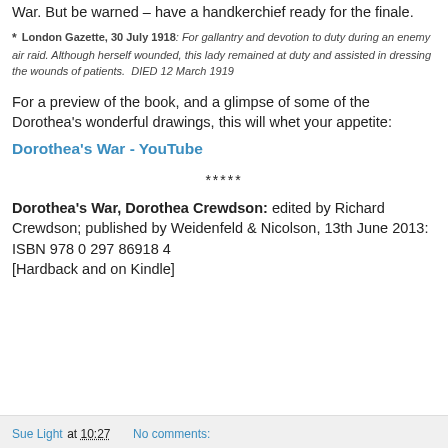War.  But be warned – have a handkerchief ready for the finale.
* London Gazette, 30 July 1918: For gallantry and devotion to duty during an enemy air raid. Although herself wounded, this lady remained at duty and assisted in dressing the wounds of patients.  DIED 12 March 1919
For a preview of the book, and a glimpse of some of the Dorothea's wonderful drawings, this will whet your appetite:
Dorothea's War - YouTube
*****
Dorothea's War, Dorothea Crewdson: edited by Richard Crewdson; published by Weidenfeld & Nicolson, 13th June 2013:  ISBN 978 0 297 86918 4 [Hardback and on Kindle]
Sue Light at 10:27    No comments: